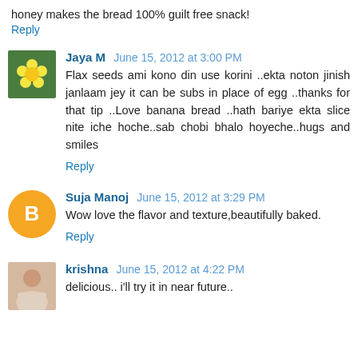honey makes the bread 100% guilt free snack!
Reply
Jaya M June 15, 2012 at 3:00 PM
Flax seeds ami kono din use korini ..ekta noton jinish janlaam jey it can be subs in place of egg ..thanks for that tip ..Love banana bread ..hath bariye ekta slice nite iche hoche..sab chobi bhalo hoyeche..hugs and smiles
Reply
Suja Manoj June 15, 2012 at 3:29 PM
Wow love the flavor and texture,beautifully baked.
Reply
krishna June 15, 2012 at 4:22 PM
delicious.. i'll try it in near future..